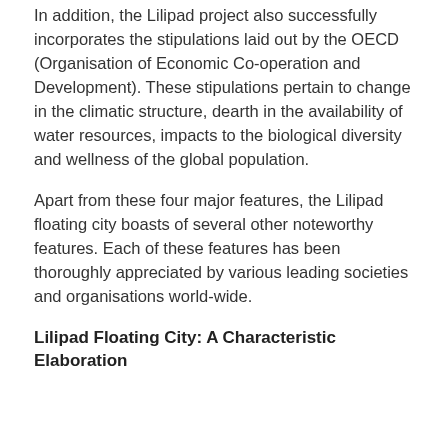In addition, the Lilipad project also successfully incorporates the stipulations laid out by the OECD (Organisation of Economic Co-operation and Development). These stipulations pertain to change in the climatic structure, dearth in the availability of water resources, impacts to the biological diversity and wellness of the global population.
Apart from these four major features, the Lilipad floating city boasts of several other noteworthy features. Each of these features has been thoroughly appreciated by various leading societies and organisations world-wide.
Lilipad Floating City: A Characteristic Elaboration